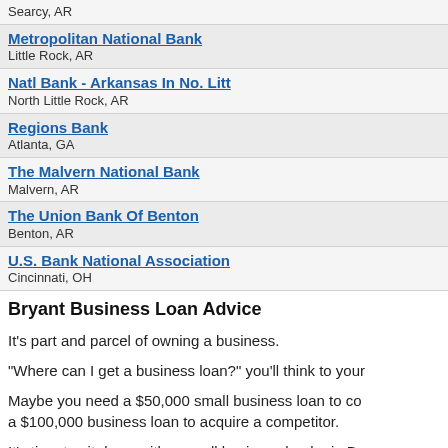| Bank | Location |
| --- | --- |
| Searcy, AR |  |
| Metropolitan National Bank | Little Rock, AR |
| Natl Bank - Arkansas In No. Litt | North Little Rock, AR |
| Regions Bank | Atlanta, GA |
| The Malvern National Bank | Malvern, AR |
| The Union Bank Of Benton | Benton, AR |
| U.S. Bank National Association | Cincinnati, OH |
Bryant Business Loan Advice
It's part and parcel of owning a business.
"Where can I get a business loan?" you'll think to your
Maybe you need a $50,000 small business loan to co... a $100,000 business loan to acquire a competitor.
It's time to sit down with a small business lender in Br...
Sure, there are other options: person to person loans, merchant credit card loans, to name a few.
But, at the end of the day, securing a bank loan from a... often the better tactic for a small business to get mone...